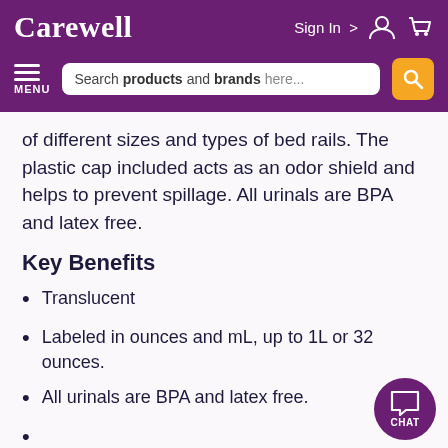Carewell | Sign In > [user icon] [cart icon]
MENU | Search products and brands here... [search button]
of different sizes and types of bed rails. The plastic cap included acts as an odor shield and helps to prevent spillage. All urinals are BPA and latex free.
Key Benefits
Translucent
Labeled in ounces and mL, up to 1L or 32 ounces.
All urinals are BPA and latex free.
(partial text cut off at bottom)